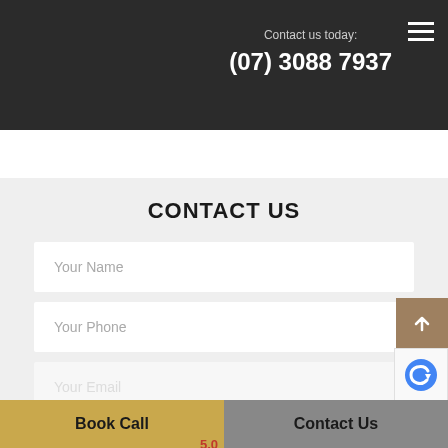Contact us today: (07) 3088 7937
CONTACT US
Your Name
Your Phone
Your Email
Book Call
Contact Us